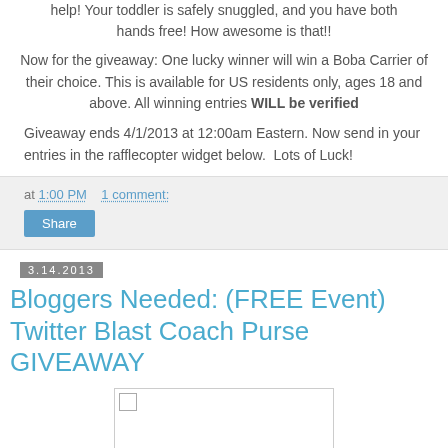help! Your toddler is safely snuggled, and you have both hands free! How awesome is that!!
Now for the giveaway: One lucky winner will win a Boba Carrier of their choice. This is available for US residents only, ages 18 and above. All winning entries WILL be verified
Giveaway ends 4/1/2013 at 12:00am Eastern. Now send in your entries in the rafflecopter widget below.  Lots of Luck!
at 1:00 PM   1 comment:
Share
3.14.2013
Bloggers Needed: (FREE Event) Twitter Blast Coach Purse GIVEAWAY
[Figure (photo): Placeholder image for Coach Purse giveaway post]